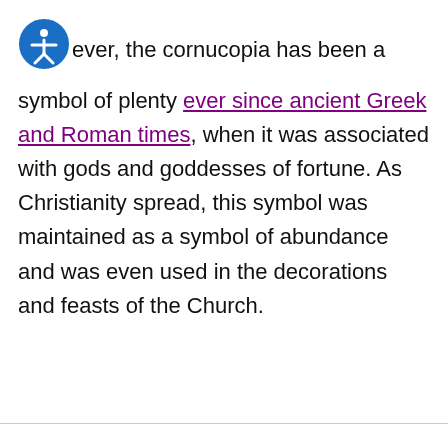ever, the cornucopia has been a symbol of plenty ever since ancient Greek and Roman times, when it was associated with gods and goddesses of fortune. As Christianity spread, this symbol was maintained as a symbol of abundance and was even used in the decorations and feasts of the Church.